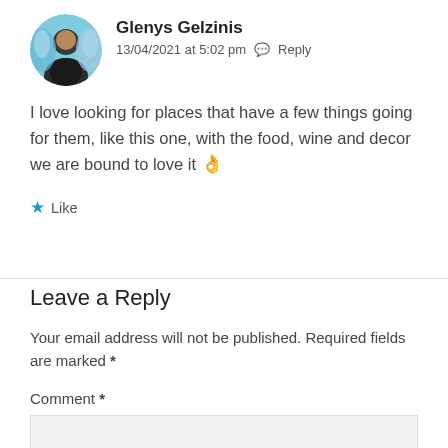[Figure (photo): Circular avatar photo of Glenys Gelzinis]
Glenys Gelzinis
13/04/2021 at 5:02 pm  Reply
I love looking for places that have a few things going for them, like this one, with the food, wine and decor we are bound to love it 👌
★ Like
Leave a Reply
Your email address will not be published. Required fields are marked *
Comment *